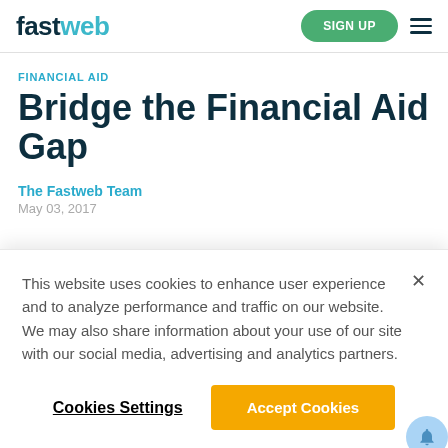fastweb | SIGN UP
FINANCIAL AID
Bridge the Financial Aid Gap
The Fastweb Team
May 03, 2017
This website uses cookies to enhance user experience and to analyze performance and traffic on our website. We may also share information about your use of our site with our social media, advertising and analytics partners.
Cookies Settings   Accept Cookies